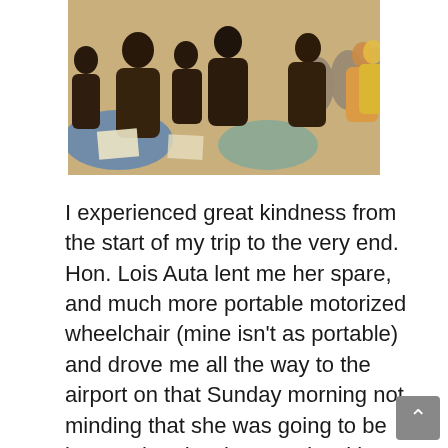[Figure (photo): Overhead/angled view of people sitting at tables in a conference or workshop room, working on papers. Multiple people visible from above, chairs around round tables, carpeted floor.]
I experienced great kindness from the start of my trip to the very end. Hon. Lois Auta lent me her spare, and much more portable motorized wheelchair (mine isn't as portable) and drove me all the way to the airport on that Sunday morning not minding that she was going to be late to church. She went in with me and stayed until I was out of sight. On reaching the check in counter, I found out that the last boarding call had been made. The airport officials and staff of Air Cote D'Ivoire ran around and broke protocols to ensure that I got on that flight. I